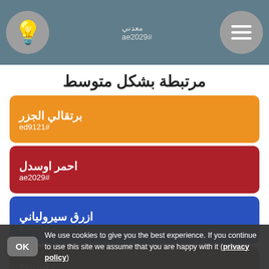معدني #ae2029
مرتبطة بشكل متوسط
برتقالي الجزر #ed9121
احمر اوسدل #ae2029
ازرق سيرولياني #2a52be
راسيتيّ #80461b
عصيري زهري #f78fa7
بعيدة الصلة
We use cookies to give you the best experience. If you continue to use this site we assume that you are happy with it (privacy policy)